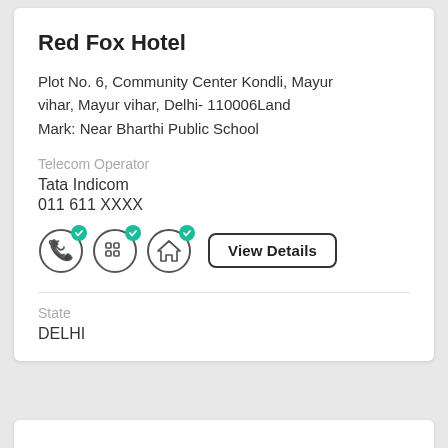Red Fox Hotel
Plot No. 6, Community Center Kondli, Mayur vihar, Mayur vihar, Delhi- 110006Land Mark: Near Bharthi Public School
Telecom Operator
Tata Indicom
011 611 XXXX
[Figure (infographic): Three circular icons with teal check badges (phone, grid/list, house) and a View Details button]
State
DELHI